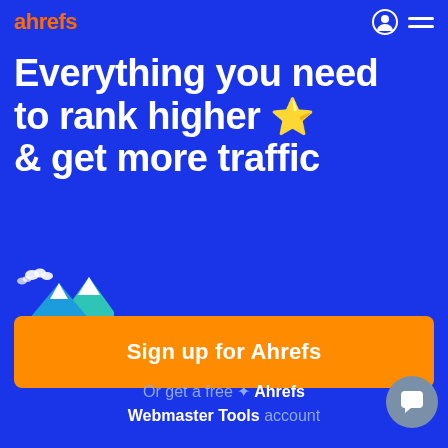ahrefs
Everything you need to rank higher ⭐ & get more traffic 🏔️
Sign up for Ahrefs
Or get a free ✦ Ahrefs Webmaster Tools account